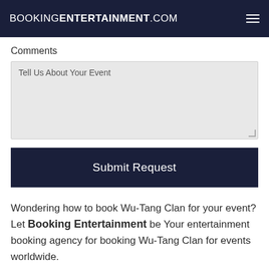BOOKKINGENTERTAINMENT.COM
Comments
Tell Us About Your Event
Submit Request
Wondering how to book Wu-Tang Clan for your event? Let Booking Entertainment be Your entertainment booking agency for booking Wu-Tang Clan for events worldwide.
Our Wu-Tang Clan agent will be happy to help you get Wu-Tang Clan's availability and booking fee, or the price